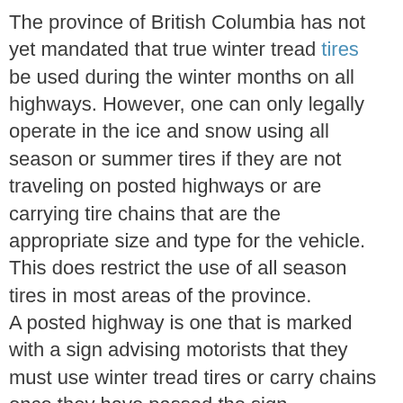The province of British Columbia has not yet mandated that true winter tread tires be used during the winter months on all highways. However, one can only legally operate in the ice and snow using all season or summer tires if they are not traveling on posted highways or are carrying tire chains that are the appropriate size and type for the vehicle. This does restrict the use of all season tires in most areas of the province.
A posted highway is one that is marked with a sign advising motorists that they must use winter tread tires or carry chains once they have passed the sign.
For the purposes of the sign, a winter tire is one that is advertised or represented by its manufacturer or a person in the business of selling tires to be a tire intended principally for